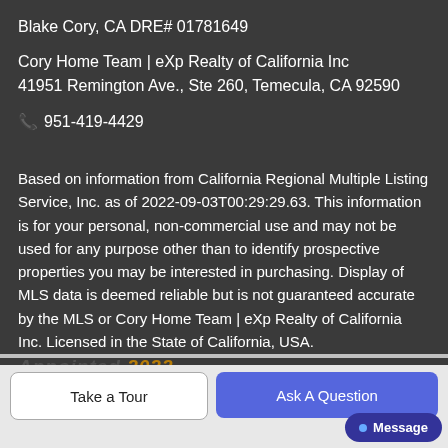Blake Cory, CA DRE# 01781649
Cory Home Team | eXp Realty of California Inc
41951 Remington Ave., Ste 260, Temecula, CA 92590
📞 951-419-4429
Based on information from California Regional Multiple Listing Service, Inc. as of 2022-09-03T00:29:29.63. This information is for your personal, non-commercial use and may not be used for any purpose other than to identify prospective properties you may be interested in purchasing. Display of MLS data is deemed reliable but is not guaranteed accurate by the MLS or Cory Home Team | eXp Realty of California Inc. Licensed in the State of California, USA.
Take a Tour
Ask A Question
Message